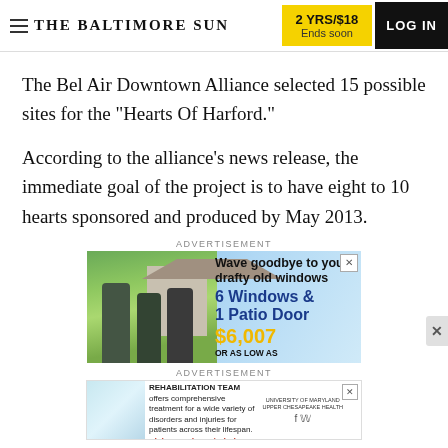THE BALTIMORE SUN | 2 YRS/$18 Ends soon | LOG IN
The Bel Air Downtown Alliance selected 15 possible sites for the "Hearts Of Harford."
According to the alliance's news release, the immediate goal of the project is to have eight to 10 hearts sponsored and produced by May 2013.
ADVERTISEMENT
[Figure (photo): Advertisement banner: Window replacement ad showing two workers in front of a house with text 'Wave goodbye to your drafty old windows / 6 Windows & 1 Patio Door / $6,007 OR AS LOW AS']
ADVERTISEMENT
[Figure (photo): Advertisement banner: Rehabilitation team ad with photo of caregiver and patient, text 'OUR EXPERT REHABILITATION TEAM offers comprehensive treatment for a wide variety of disorders and injuries for patients across their lifespan. Visit umuch.org/rehab']